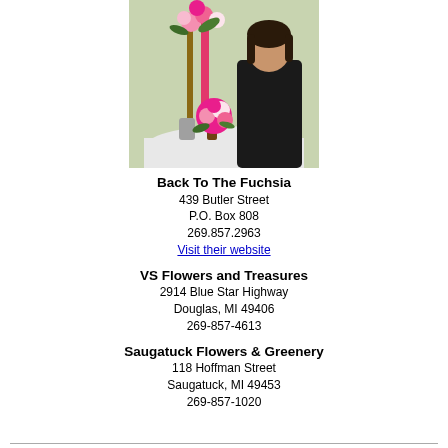[Figure (photo): Woman in black top standing next to floral arrangements on a table, in front of a light green wall]
Back To The Fuchsia
439 Butler Street
P.O. Box 808
269.857.2963
Visit their website
VS Flowers and Treasures
2914 Blue Star Highway
Douglas, MI 49406
269-857-4613
Saugatuck Flowers & Greenery
118 Hoffman Street
Saugatuck, MI 49453
269-857-1020